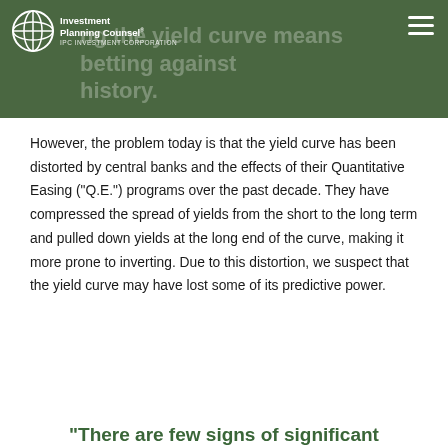...ng the yield curve means betting against history.
However, the problem today is that the yield curve has been distorted by central banks and the effects of their Quantitative Easing (“Q.E.”) programs over the past decade. They have compressed the spread of yields from the short to the long term and pulled down yields at the long end of the curve, making it more prone to inverting. Due to this distortion, we suspect that the yield curve may have lost some of its predictive power.
“There are few signs of significant